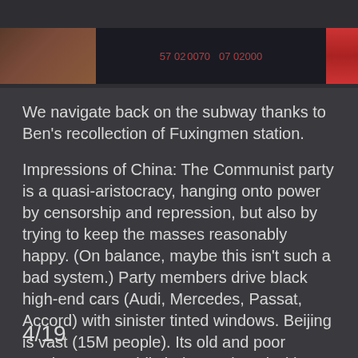[Figure (photo): Top image bar showing a partial street scene or sign with red text/characters visible against a dark background]
We navigate back on the subway thanks to Ben's recollection of Fuxingmen station.
Impressions of China: The Communist party is a quasi-aristocracy, hanging onto power by censorship and repression, but also by trying to keep the masses reasonably happy. (On balance, maybe this isn't such a bad system.) Party members drive black high-end cars (Audi, Mercedes, Passat, Accord) with sinister tinted windows. Beijing is vast (15M people). Its old and poor sections are rapidly being replaced with high-rise apartments and glossy Western-style development. Young people are Westernized; old people are bewildered.
4/19